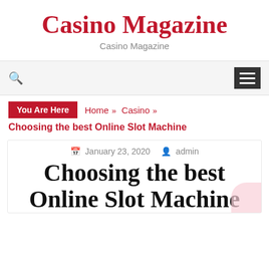Casino Magazine
Casino Magazine
[Figure (other): Navigation bar with search icon on left and hamburger menu button on right]
You Are Here  Home » Casino »
Choosing the best Online Slot Machine
January 23, 2020  admin
Choosing the best Online Slot Machine